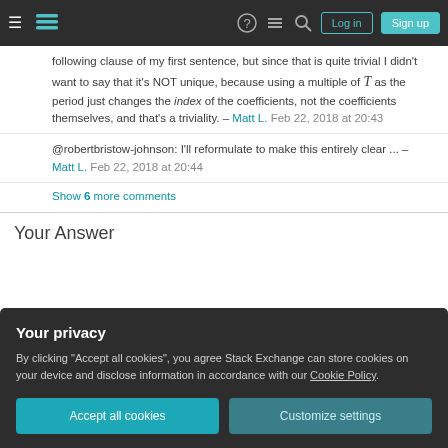Stack Exchange navigation bar with Log in and Sign up buttons
following clause of my first sentence, but since that is quite trivial I didn't want to say that it's NOT unique, because using a multiple of T as the period just changes the index of the coefficients, not the coefficients themselves, and that's a triviality. – Matt L. Feb 22, 2018 at 20:43
@robertbristow-johnson: I'll reformulate to make this entirely clear ... – Matt L. Feb 22, 2018 at 20:44
Show 6 more comments
Your Answer
Your privacy
By clicking "Accept all cookies", you agree Stack Exchange can store cookies on your device and disclose information in accordance with our Cookie Policy.
Accept all cookies
Customize settings